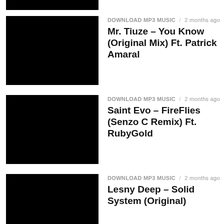[Figure (other): Black thumbnail image (partial, top of page)]
DOWNLOAD MP3 MUSIC / 2 months ago
Mr. Tiuze – You Know (Original Mix) Ft. Patrick Amaral
DOWNLOAD MP3 MUSIC / 2 months ago
Saint Evo – FireFlies (Senzo C Remix) Ft. RubyGold
DOWNLOAD MP3 MUSIC / 2 months ago
Lesny Deep – Solid System (Original)
DOWNLOAD MP3 MUSIC / 2 months ago
Kaysha, Boddhi Satva & H. Baraka – Antelope (Breyth AfroTech Remix)
DOWNLOAD MP3 MUSIC / 2 months ago
Kaysha, Boddhi Satva & H. Baraka – Antelope (Boddhi Satva Ancestral Soul...